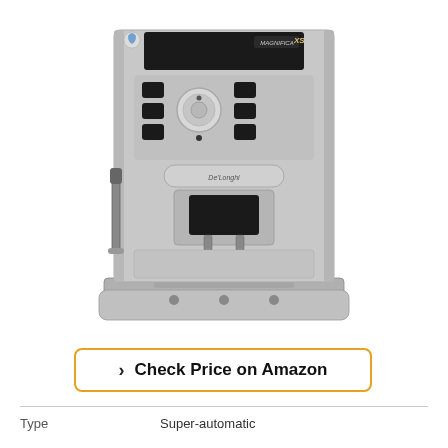[Figure (photo): DeLonghi Magnifica XS super-automatic espresso machine in silver/stainless steel finish, front view showing control panel with buttons and knob, steam wand on left, drip tray at bottom]
Check Price on Amazon
| Type |  |
| --- | --- |
| Type | Super-automatic |